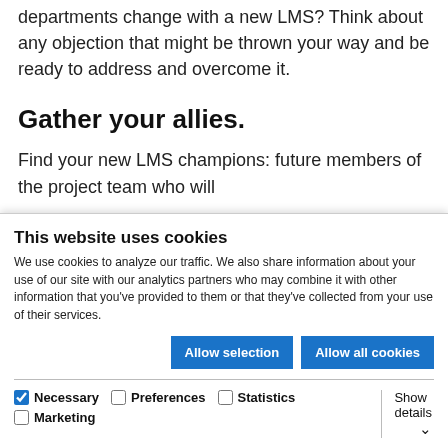departments change with a new LMS? Think about any objection that might be thrown your way and be ready to address and overcome it.
Gather your allies.
Find your new LMS champions: future members of the project team who will
This website uses cookies
We use cookies to analyze our traffic. We also share information about your use of our site with our analytics partners who may combine it with other information that you've provided to them or that they've collected from your use of their services.
Allow selection | Allow all cookies
Necessary | Preferences | Statistics | Marketing | Show details